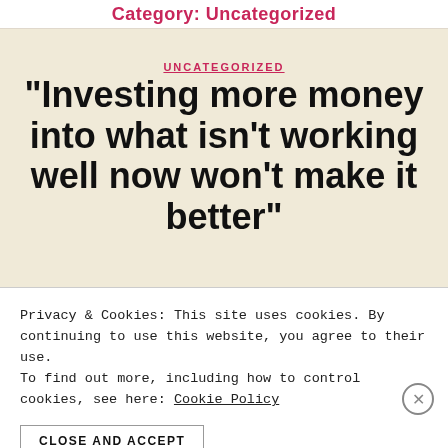Category: Uncategorized
UNCATEGORIZED
“Investing more money into what isn’t working well now won’t make it better”
Privacy & Cookies: This site uses cookies. By continuing to use this website, you agree to their use. To find out more, including how to control cookies, see here: Cookie Policy
CLOSE AND ACCEPT